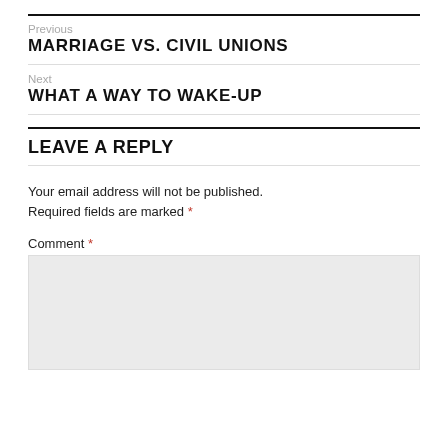Previous
MARRIAGE VS. CIVIL UNIONS
Next
WHAT A WAY TO WAKE-UP
LEAVE A REPLY
Your email address will not be published. Required fields are marked *
Comment *